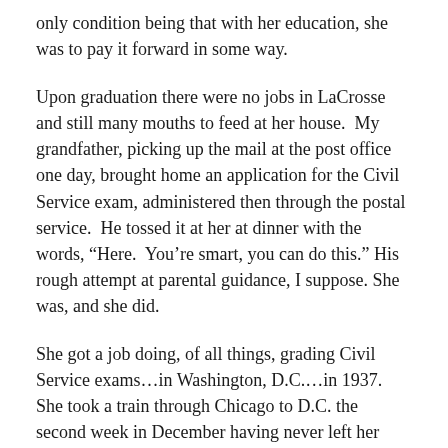only condition being that with her education, she was to pay it forward in some way.
Upon graduation there were no jobs in LaCrosse and still many mouths to feed at her house. My grandfather, picking up the mail at the post office one day, brought home an application for the Civil Service exam, administered then through the postal service. He tossed it at her at dinner with the words, “Here. You’re smart, you can do this.” His rough attempt at parental guidance, I suppose. She was, and she did.
She got a job doing, of all things, grading Civil Service exams…in Washington, D.C.…in 1937. She took a train through Chicago to D.C. the second week in December having never left her hometown before. She paid her “debt” by funding two of her sister’s college educations back home and eventually bringing them and two brothers to D.C. as well. Education was her thing, obviously.